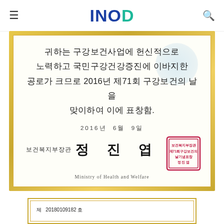INOD
[Figure (photo): Korean government commendation certificate in a gold frame from the Ministry of Health and Welfare, dated June 9, 2016 (2016년 6월 9일), signed by Minister 정진엽 with an official red stamp. Certificate text praises contributions to oral health promotion. English text at bottom: Ministry of Health and Welfare.]
[Figure (photo): Partial view of a second document frame at the bottom of the page, showing text: 제 20180109182 호]